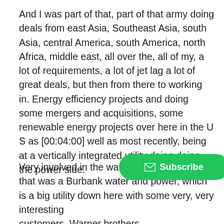And I was part of that, part of that army doing deals from east Asia, Southeast Asia, south Asia, central America, south America, north Africa, middle east, all over the, all of my, a lot of requirements, a lot of jet lag a lot of great deals, but then from there to working in. Energy efficiency projects and doing some mergers and acquisitions, some renewable energy projects over here in the U S as [00:04:00] well as most recently, being at a vertically integrated utility doing doing the power side.
Very involved in the water side as well. And that was a Burbank water and power, which is a big utility down here with some very, very interesting customers, Warner brothers, Disney, the biggest Ikea in north America. And obviously very customers with very, very significant energy